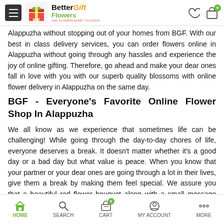Better Flowers Gift - navigation header with logo and icons
Alappuzha without stopping out of your homes from BGF. With our best in class delivery services, you can order flowers online in Alappuzha without going through any hassles and experience the joy of online gifting. Therefore, go ahead and make your dear ones fall in love with you with our superb quality blossoms with online flower delivery in Alappuzha on the same day.
BGF - Everyone's Favorite Online Flower Shop In Alappuzha
We all know as we experience that sometimes life can be challenging! While going through the day-to-day chores of life, everyone deserves a break. It doesn't matter whether it's a good day or a bad day but what value is peace. When you know that your partner or your dear ones are going through a lot in their lives, give them a break by making them feel special. We assure you that a beautiful red flower bouquet along with a small message card will make your dear ones fall for you. Love is the most powerful thing in this world, and expressing it to someone you adore is heaven. Thus, go ahead and express your love by sending fresh flowers from BGF - everyone's favorite online flower shop in Alappuzha. We offer an extended range of flower bouquet delivery in Alappuzha and floral
HOME  SEARCH  CART  MY ACCOUNT  MORE